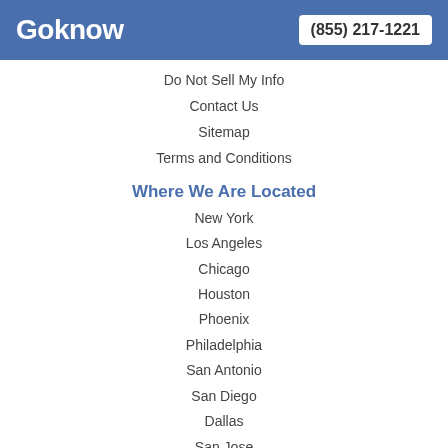Goknow  (855) 217-1221
Do Not Sell My Info
Contact Us
Sitemap
Terms and Conditions
Where We Are Located
New York
Los Angeles
Chicago
Houston
Phoenix
Philadelphia
San Antonio
San Diego
Dallas
San Jose
Stay Connected
[Figure (illustration): Facebook and Twitter social media icons]